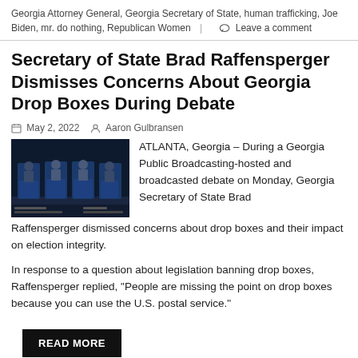Georgia Attorney General, Georgia Secretary of State, human trafficking, Joe Biden, mr. do nothing, Republican Women | Leave a comment
Secretary of State Brad Raffensperger Dismisses Concerns About Georgia Drop Boxes During Debate
May 2, 2022   Aaron Gulbransen
[Figure (photo): Photo of debate stage with multiple candidates at podiums against a dark background with blue lighting]
ATLANTA, Georgia – During a Georgia Public Broadcasting-hosted and broadcasted debate on Monday, Georgia Secretary of State Brad Raffensperger dismissed concerns about drop boxes and their impact on election integrity.
In response to a question about legislation banning drop boxes, Raffensperger replied, “People are missing the point on drop boxes because you can use the U.S. postal service.”
READ MORE